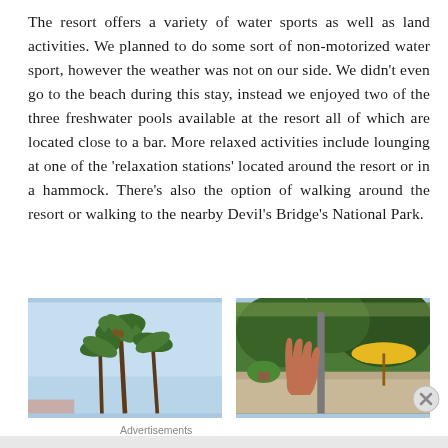The resort offers a variety of water sports as well as land activities. We planned to do some sort of non-motorized water sport, however the weather was not on our side. We didn't even go to the beach during this stay, instead we enjoyed two of the three freshwater pools available at the resort all of which are located close to a bar. More relaxed activities include lounging at one of the 'relaxation stations' located around the resort or in a hammock. There's also the option of walking around the resort or walking to the nearby Devil's Bridge's National Park.
[Figure (photo): Photo of palm trees against a light blue sky, taken from below looking up]
[Figure (photo): Photo showing a hand raised up, yellow umbrella, green trees and a terrace/balcony railing in background]
Advertisements